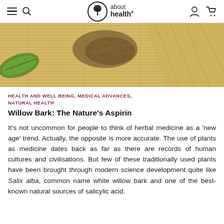about health
[Figure (photo): Close-up photo of dried willow bark herbs on a woven bamboo mat surface, with a green leaf on the left side.]
HEALTH AND WELL BEING, MEDICAL ADVANCES, NATURAL HEALTH
Willow Bark: The Nature's Aspirin
It's not uncommon for people to think of herbal medicine as a 'new age' trend. Actually, the opposite is more accurate. The use of plants as medicine dates back as far as there are records of human cultures and civilisations. But few of these traditionally used plants have been brought through modern science development quite like Salix alba, common name white willow bark and one of the best-known natural sources of salicylic acid.